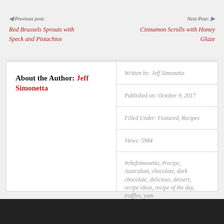Previous post: Red Brussels Sprouts with Speck and Pistachios | Next Post: Cinnamon Scrolls with Honey Glaze
About the Author: Jeff Simonetta
Written by: Jeff Simonetta
Published on: October 9, 2017
Filled Under: Featured, Recipes
Views: 5984
#chefsimonetta, #recipe, Australian, chocolate, dark chocolate, delicious, dessert, recipe ideas, recipe of the day, truffles, yum